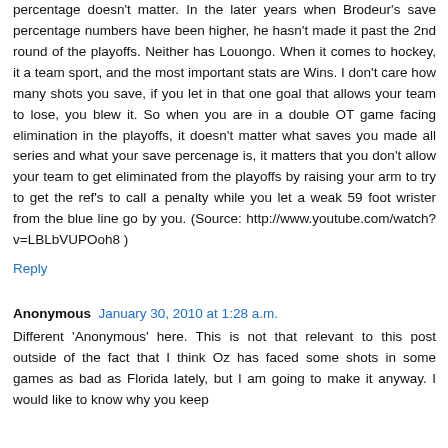percentage doesn't matter. In the later years when Brodeur's save percentage numbers have been higher, he hasn't made it past the 2nd round of the playoffs. Neither has Louongo. When it comes to hockey, it a team sport, and the most important stats are Wins. I don't care how many shots you save, if you let in that one goal that allows your team to lose, you blew it. So when you are in a double OT game facing elimination in the playoffs, it doesn't matter what saves you made all series and what your save percenage is, it matters that you don't allow your team to get eliminated from the playoffs by raising your arm to try to get the ref's to call a penalty while you let a weak 59 foot wrister from the blue line go by you. (Source: http://www.youtube.com/watch?v=LBLbVUPOoh8 )
Reply
Anonymous  January 30, 2010 at 1:28 a.m.
Different 'Anonymous' here. This is not that relevant to this post outside of the fact that I think Oz has faced some shots in some games as bad as Florida lately, but I am going to make it anyway. I would like to know why you keep